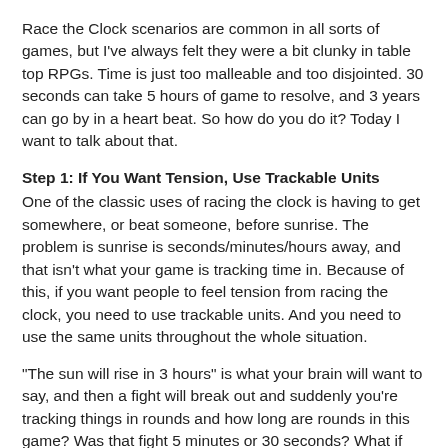Race the Clock scenarios are common in all sorts of games, but I've always felt they were a bit clunky in table top RPGs. Time is just too malleable and too disjointed. 30 seconds can take 5 hours of game to resolve, and 3 years can go by in a heart beat. So how do you do it? Today I want to talk about that.
Step 1: If You Want Tension, Use Trackable Units
One of the classic uses of racing the clock is having to get somewhere, or beat someone, before sunrise. The problem is sunrise is seconds/minutes/hours away, and that isn't what your game is tracking time in. Because of this, if you want people to feel tension from racing the clock, you need to use trackable units. And you need to use the same units throughout the whole situation.
"The sun will rise in 3 hours" is what your brain will want to say, and then a fight will break out and suddenly you're tracking things in rounds and how long are rounds in this game? Was that fight 5 minutes or 30 seconds? What if rounds can have different times like in Edge of the Empire?